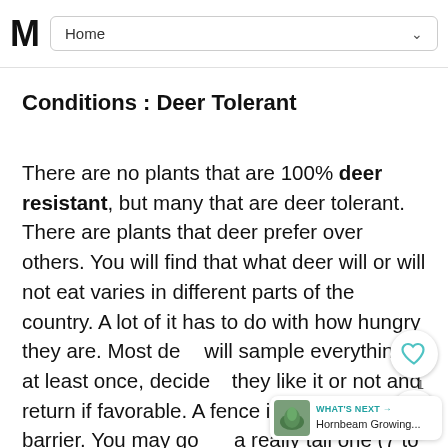M  Home
Conditions : Deer Tolerant
There are no plants that are 100% deer resistant, but many that are deer tolerant. There are plants that deer prefer over others. You will find that what deer will or will not eat varies in different parts of the country. A lot of it has to do with how hungry they are. Most deer will sample everything at least once, decide if they like it or not and return if favorable. A fence is the good deer barrier. You may go for a really tall one (7 to 8 feet), or try 2 fences, (4 to 5 feet apart). Use a wire mesh fence rather than board, since deer are